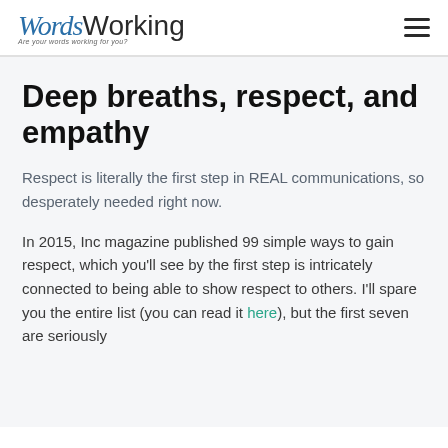WordsWorking — Are your words working for you?
Deep breaths, respect, and empathy
Respect is literally the first step in REAL communications, so desperately needed right now.
In 2015, Inc magazine published 99 simple ways to gain respect, which you'll see by the first step is intricately connected to being able to show respect to others. I'll spare you the entire list (you can read it here), but the first seven are seriously